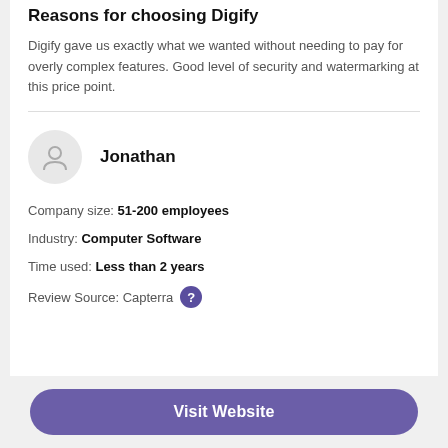Reasons for choosing Digify
Digify gave us exactly what we wanted without needing to pay for overly complex features. Good level of security and watermarking at this price point.
[Figure (illustration): Avatar circle with person silhouette icon next to reviewer name Jonathan]
Company size: 51-200 employees
Industry: Computer Software
Time used: Less than 2 years
Review Source: Capterra ?
Visit Website